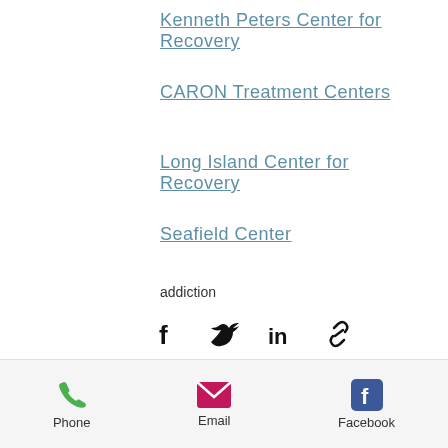Kenneth Peters Center for Recovery
CARON Treatment Centers
Long Island Center for Recovery
Seafield Center
addiction
[Figure (infographic): Social share icons: Facebook, Twitter, LinkedIn, Link]
[Figure (infographic): Stats row: eye icon with 6 views, comment icon, heart/like button]
Recent Posts
See All
Phone  Email  Facebook